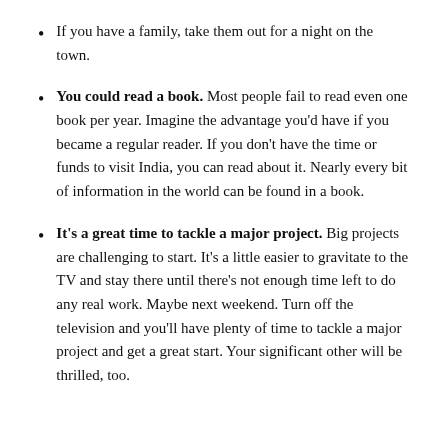If you have a family, take them out for a night on the town.
You could read a book. Most people fail to read even one book per year. Imagine the advantage you'd have if you became a regular reader. If you don't have the time or funds to visit India, you can read about it. Nearly every bit of information in the world can be found in a book.
It's a great time to tackle a major project. Big projects are challenging to start. It's a little easier to gravitate to the TV and stay there until there's not enough time left to do any real work. Maybe next weekend. Turn off the television and you'll have plenty of time to tackle a major project and get a great start. Your significant other will be thrilled, too.